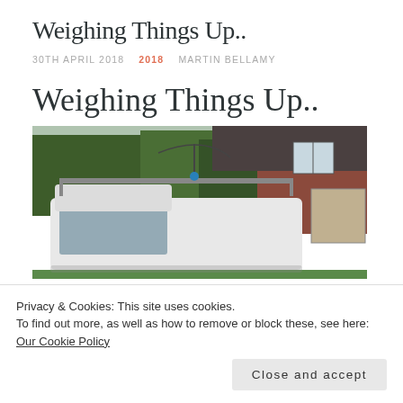Weighing Things Up..
30TH APRIL 2018  2018  MARTIN BELLAMY
Weighing Things Up..
[Figure (photo): A white van with equipment on its roof rack parked in front of a brick house with trees in the background.]
Privacy & Cookies: This site uses cookies.
To find out more, as well as how to remove or block these, see here: Our Cookie Policy
Close and accept